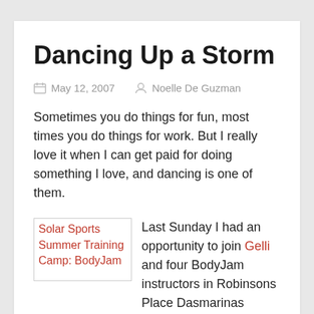Dancing Up a Storm
May 12, 2007   Noelle De Guzman
Sometimes you do things for fun, most times you do things for work. But I really love it when I can get paid for doing something I love, and dancing is one of them.
[Figure (other): Broken image placeholder with link text: Solar Sports Summer Training Camp: BodyJam]
Last Sunday I had an opportunity to join Gelli and four BodyJam instructors in Robinsons Place Dasmarinas (Cavite)